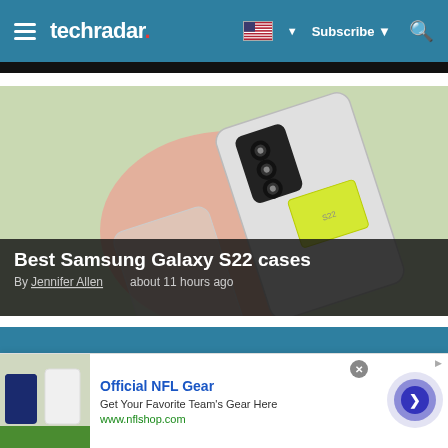techradar
[Figure (photo): Samsung Galaxy S22 phone with clear case and yellow card wallet accessory, viewed from back, on a light green and peach background]
Best Samsung Galaxy S22 cases
By Jennifer Allen about 11 hours ago
[Figure (photo): Partial view of second article with teal/blue banner]
[Figure (photo): Advertisement: Official NFL Gear - Get Your Favorite Team's Gear Here - www.nflshop.com, with NFL jerseys image and circular arrow button]